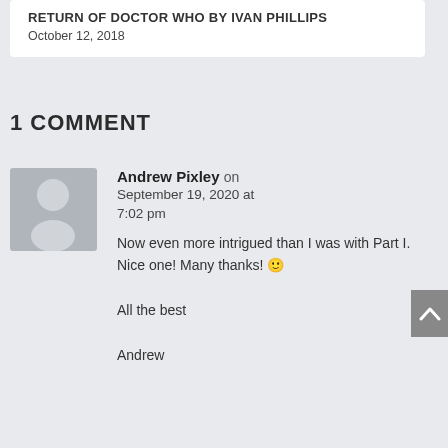RETURN OF DOCTOR WHO by Ivan Phillips
October 12, 2018
1 COMMENT
[Figure (illustration): Grey placeholder avatar silhouette icon]
Andrew Pixley on September 19, 2020 at 7:02 pm
Now even more intrigued than I was with Part I. Nice one! Many thanks! 🙂

All the best

Andrew